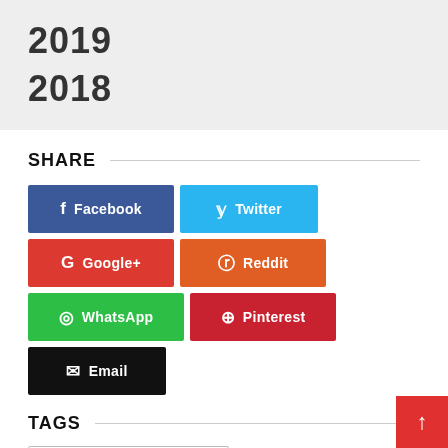2019
2018
SHARE
Facebook
Twitter
Google+
Reddit
WhatsApp
Pinterest
Email
TAGS
sun block cream production